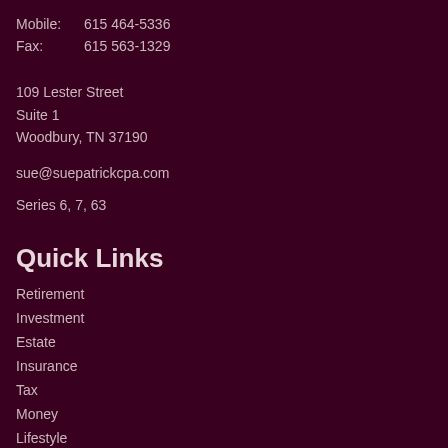Mobile: 615 464-5336
Fax: 615 563-1329
109 Lester Street
Suite 1
Woodbury, TN 37190
sue@suepatrickcpa.com
Series 6, 7, 63
Quick Links
Retirement
Investment
Estate
Insurance
Tax
Money
Lifestyle
All Articles
All Videos
All Calculators
All Presentations